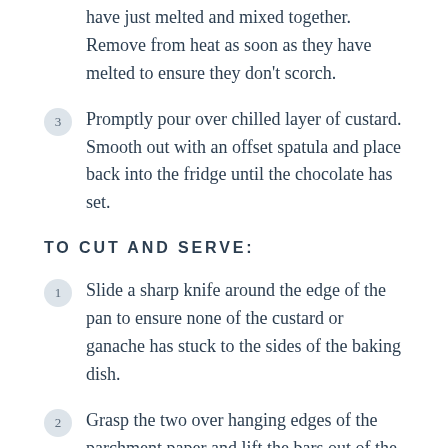have just melted and mixed together. Remove from heat as soon as they have melted to ensure they don't scorch.
3   Promptly pour over chilled layer of custard. Smooth out with an offset spatula and place back into the fridge until the chocolate has set.
TO CUT AND SERVE:
1   Slide a sharp knife around the edge of the pan to ensure none of the custard or ganache has stuck to the sides of the baking dish.
2   Grasp the two over hanging edges of the parchment paper and lift the bars out of the baking dish.
3   Using a sharp knife cut the bars into 24 even